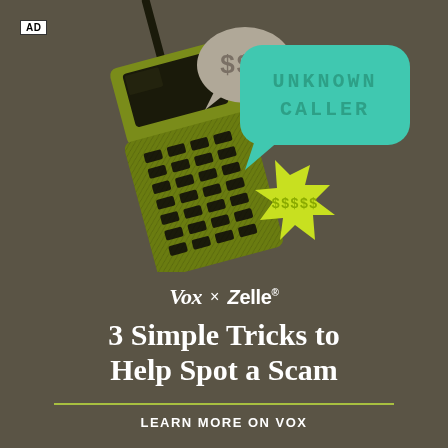[Figure (illustration): Retro brick mobile phone in yellow-green color tilted diagonally, with speech bubbles: a gray bubble with '$$$', a teal rounded bubble with 'UNKNOWN CALLER' in dot-matrix style, and a yellow-green spiky bubble with '$$$$$' in dot-matrix style. Dark olive/brown background.]
AD
Vox × Zelle®
3 Simple Tricks to Help Spot a Scam
LEARN MORE ON VOX